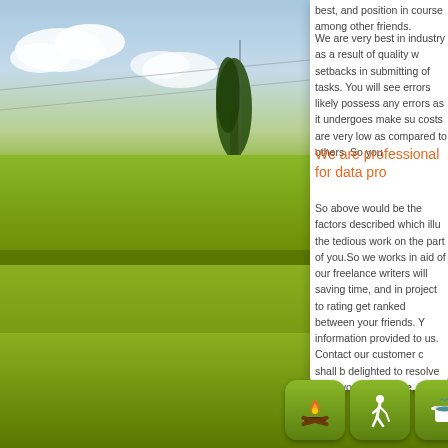[Figure (photo): Outdoor scene with blue sky, clouds, tree silhouette, and green field/lawn area. Part of a website layout with green background.]
best, and position in course among other friends.
We are very best in industry as a result of quality w... setbacks in submitting of tasks. You will see errors... likely possess any errors as it undergoes make su... costs are very low as compared to others. So you...
We are professional for data pro...
So above would be the factors described which illu... the tedious work on the part of you.So we works in... aid of our freelance writers will saving time, and in... project to rating get ranked between your friends. Y... information provided to us. Contact our customer c... shall b delighted to resolve your worries anytime, B...
[Figure (infographic): Row of six green rounded square icon buttons at the bottom of the page. Icons include: campfire/logs, hiker with stick, food/cooking pot, mushroom, bicycle, and a windsurfer/water sport figure.]